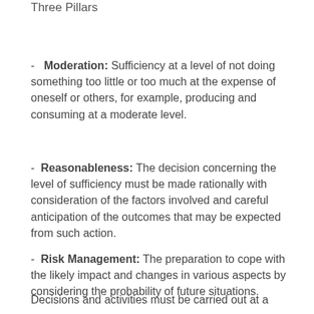Three Pillars
- Moderation: Sufficiency at a level of not doing something too little or too much at the expense of oneself or others, for example, producing and consuming at a moderate level.
- Reasonableness: The decision concerning the level of sufficiency must be made rationally with consideration of the factors involved and careful anticipation of the outcomes that may be expected from such action.
- Risk Management: The preparation to cope with the likely impact and changes in various aspects by considering the probability of future situations.
Decisions and activities must be carried out at a